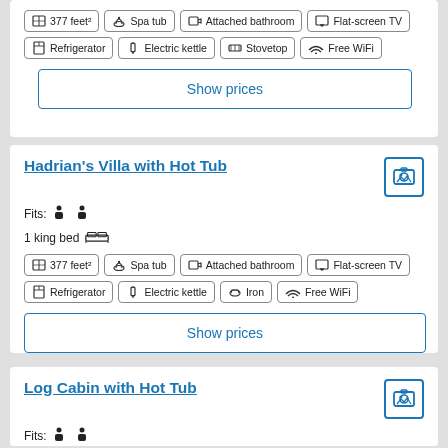377 feet², Spa tub, Attached bathroom, Flat-screen TV, Refrigerator, Electric kettle, Stovetop, Free WiFi
Show prices
Hadrian's Villa with Hot Tub
Fits: 2 guests
1 king bed
377 feet², Spa tub, Attached bathroom, Flat-screen TV, Refrigerator, Electric kettle, Iron, Free WiFi
Show prices
Log Cabin with Hot Tub
Fits: 2 guests